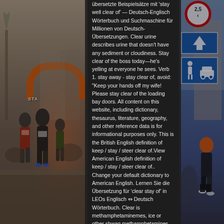[Figure (photo): Left side photo of runners at a street race start line with an orange START arch, crowds, trees in winter.]
übersetzte Beispielsätze mit 'stay well clear of' — Deutsch-Englisch Wörterbuch und Suchmaschine für Millionen von Deutsch-Übersetzungen. Clear urine describes urine that doesn't have any sediment or cloudiness. Stay clear of the boss today—he's yelling at everyone he sees. Verb 1. stay away - stay clear of, avoid: "Keep your hands off my wife! Please stay clear of the loading bay doors. All content on this website, including dictionary, thesaurus, literature, geography, and other reference data is for informational purposes only. This is the British English definition of keep / stay / steer clear of.View American English definition of keep / stay / steer clear of.. Change your default dictionary to American English. Lernen Sie die Übersetzung für 'clear stay of' in LEOs Englisch ⇔ Deutsch Wörterbuch. Clear is methamphetaminemes, ice or other shwag methamphetamines commonly used by drug dealers So stay clear of him until I'm through with him, and stay clear of me. If you
[Figure (photo): Right side photo of street signs including a red circular 2.5t weight limit sign, blue arrow sign, and blue pedestrian/vehicle sign. A runner in an orange vest is visible.]